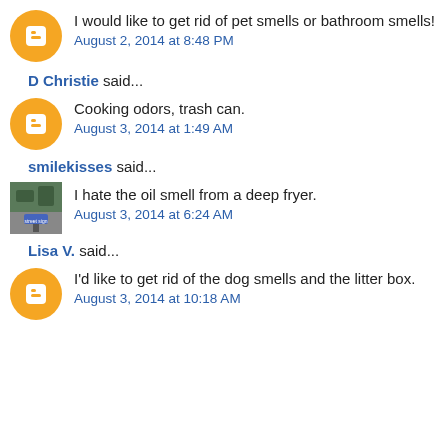I would like to get rid of pet smells or bathroom smells!
August 2, 2014 at 8:48 PM
D Christie said...
Cooking odors, trash can.
August 3, 2014 at 1:49 AM
smilekisses said...
I hate the oil smell from a deep fryer.
August 3, 2014 at 6:24 AM
Lisa V. said...
I'd like to get rid of the dog smells and the litter box.
August 3, 2014 at 10:18 AM